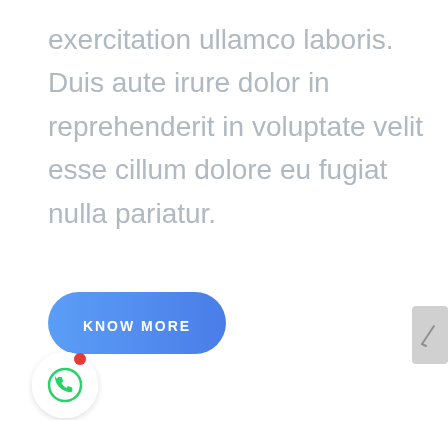exercitation ullamco laboris. Duis aute irure dolor in reprehenderit in voluptate velit esse cillum dolore eu fugiat nulla pariatur.
[Figure (other): Blue rounded pill-shaped button with white uppercase text 'KNOW MORE']
[Figure (other): WhatsApp floating chat button: white circle with green WhatsApp phone icon and a red notification dot in the top-right corner]
[Figure (other): Partially visible gray square button on the right edge of the page with a pencil/edit icon]